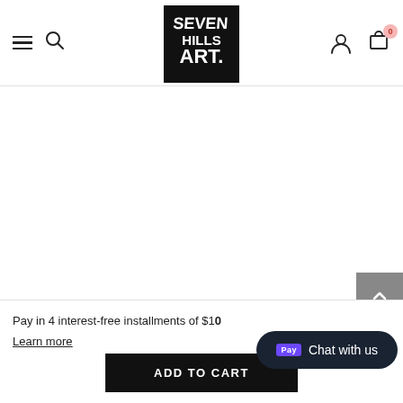[Figure (logo): Seven Hills Art logo — black square with hand-lettered white text reading SEVEN HILLS ART.]
Pay in 4 interest-free installments of $10
Learn more
ADD TO CART
Chat with us